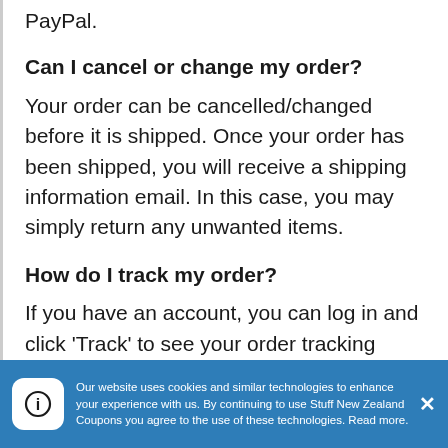PayPal.
Can I cancel or change my order?
Your order can be cancelled/changed before it is shipped. Once your order has been shipped, you will receive a shipping information email. In this case, you may simply return any unwanted items.
How do I track my order?
If you have an account, you can log in and click 'Track' to see your order tracking details. If you purchased as a guest, then you can view your tracking on the tracking website.
Our website uses cookies and similar technologies to enhance your experience with us. By continuing to use Stuff New Zealand Coupons you agree to the use of these technologies. Read more.